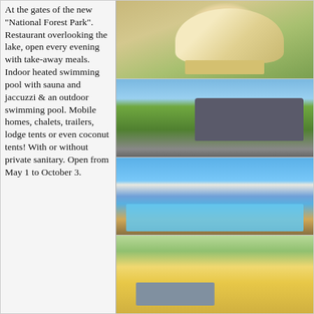At the gates of the new "National Forest Park". Restaurant overlooking the lake, open every evening with take-away meals. Indoor heated swimming pool with sauna and jaccuzzi & an outdoor swimming pool. Mobile homes, chalets, trailers, lodge tents or even coconut tents! With or without private sanitary. Open from May 1 to October 3.
[Figure (photo): A lodge tent or glamping tent on a grassy area with outdoor furniture on a wooden deck]
[Figure (photo): A camper van (VW pop-top) parked on a campsite pitch with trees and a lake view in the background]
[Figure (photo): An outdoor swimming pool on a terrace overlooking a lake, with a person walking by and colorful umbrellas]
[Figure (photo): Restaurant or terrace area with tables and chairs, colorful setting with greenery]